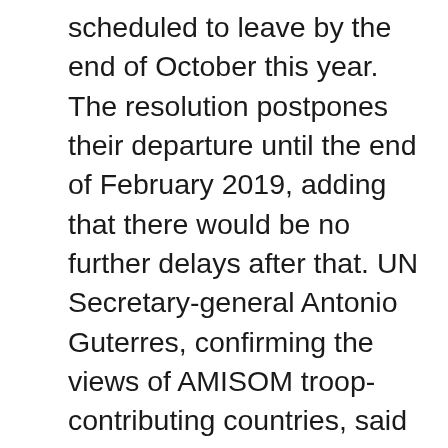scheduled to leave by the end of October this year. The resolution postpones their departure until the end of February 2019, adding that there would be no further delays after that. UN Secretary-general Antonio Guterres, confirming the views of AMISOM troop-contributing countries, said in a letter to the Security Council that plans to cut AMISOM “were not realistic”. The British-drafted resolution emphasized that Somali security forces should be built up “with the aim of Somali security institutions taking the lead by December 2021.” Somalia is scheduled to